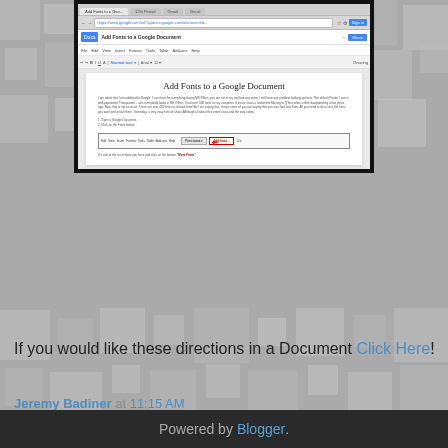[Figure (screenshot): Screenshot of a Google Docs browser window showing a document titled 'Add Fonts to a Google Document' with body text, a numbered list, and a toolbar image with a red arrow annotation.]
If you would like these directions in a Document Click Here!
Jeremy Badiner at 11:15 AM
Share
‹
Home
›
View web version
Powered by Blogger.